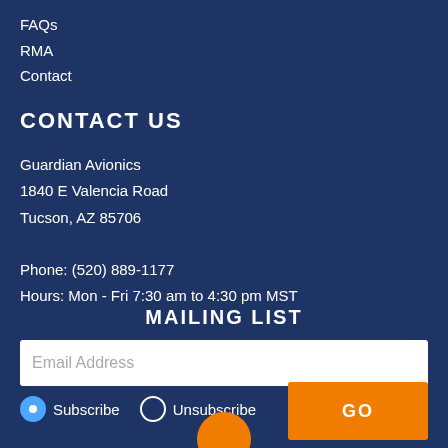FAQs
RMA
Contact
CONTACT US
Guardian Avionics
1840 E Valencia Road
Tucson, AZ 85706

Phone: (520) 889-1177
Hours: Mon - Fri 7:30 am to 4:30 pm MST
MAILING LIST
Email Address
Subscribe  Unsubscribe
GO